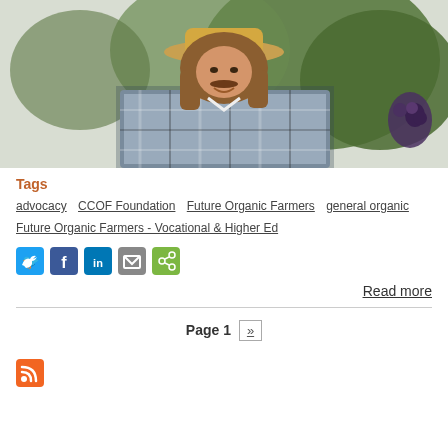[Figure (photo): A smiling man with long hair wearing a straw hat and plaid flannel shirt, standing in a vineyard with green leaves and dark grapes visible behind him.]
Tags
advocacy   CCOF Foundation   Future Organic Farmers   general organic   Future Organic Farmers - Vocational & Higher Ed
[Figure (other): Social media share buttons: Twitter (blue), Facebook (blue), LinkedIn (blue), Email (grey), Share (green)]
Read more
Page 1  »